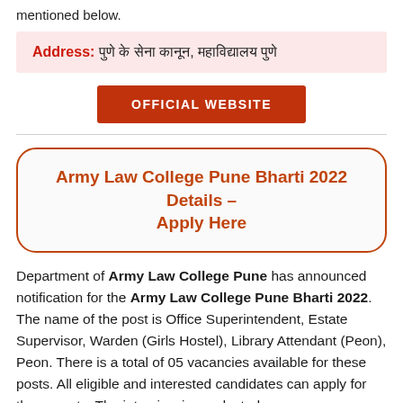mentioned below.
Address: [Hindi text — address in Hindi script]
OFFICIAL WEBSITE
Army Law College Pune Bharti 2022 Details – Apply Here
Department of Army Law College Pune has announced notification for the Army Law College Pune Bharti 2022. The name of the post is Office Superintendent, Estate Supervisor, Warden (Girls Hostel), Library Attendant (Peon), Peon. There is a total of 05 vacancies available for these posts. All eligible and interested candidates can apply for these posts. The interview is conducted